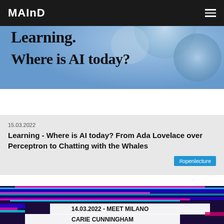MAInD
[Figure (photo): Blue abstract background with bold text overlay: 'Learning. Where is AI today?']
15.03.2022
Learning - Where is AI today? From Ada Lovelace over Perceptron to Chatting with the Whales
#openlecture
[Figure (photo): Glitch-art style event banner with colorful stripes (blue, pink, cyan). Text: '14.03.2022 - MEET MILANO', 'CARIE CUNNINGHAM', '"MY VOICE ASSISTANT NEVER UNDERSTAND ME"']